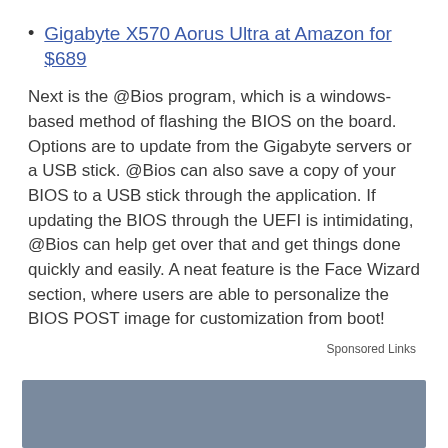Gigabyte X570 Aorus Ultra at Amazon for $689
Next is the @Bios program, which is a windows-based method of flashing the BIOS on the board. Options are to update from the Gigabyte servers or a USB stick. @Bios can also save a copy of your BIOS to a USB stick through the application. If updating the BIOS through the UEFI is intimidating, @Bios can help get over that and get things done quickly and easily. A neat feature is the Face Wizard section, where users are able to personalize the BIOS POST image for customization from boot!
Sponsored Links
[Figure (other): Gray advertisement banner placeholder box]